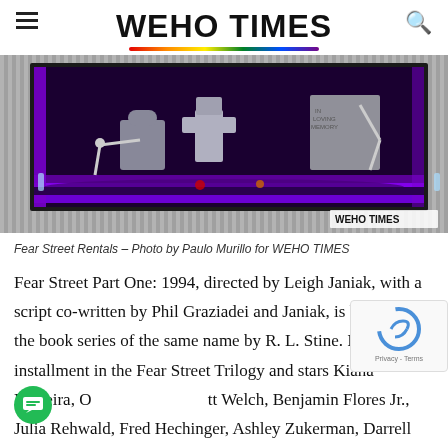WEHO TIMES
[Figure (photo): Halloween diorama display in a window box with purple LED lighting, featuring tombstones, skeletons, and spooky decorations — Fear Street Rentals. Watermark: WEHO TIMES]
Fear Street Rentals – Photo by Paulo Murillo for WEHO TIMES
Fear Street Part One: 1994, directed by Leigh Janiak, with a script co-written by Phil Graziadei and Janiak, is based on the book series of the same name by R. L. Stine. It is the first installment in the Fear Street Trilogy and stars Kiana Madeira, Olivia Scott Welch, Benjamin Flores Jr., Julia Rehwald, Fred Hechinger, Ashley Zukerman, Darrell Britt-